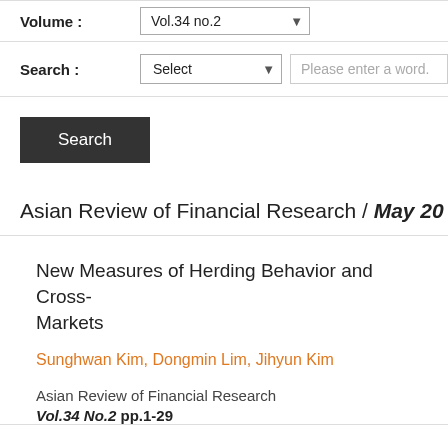Volume : Vol.34 no.2
Search : Select  Please enter a word.
Search
Asian Review of Financial Research / May 20...
New Measures of Herding Behavior and Cross-... Markets
Sunghwan Kim, Dongmin Lim, Jihyun Kim
Asian Review of Financial Research
Vol.34 No.2 pp.1-29